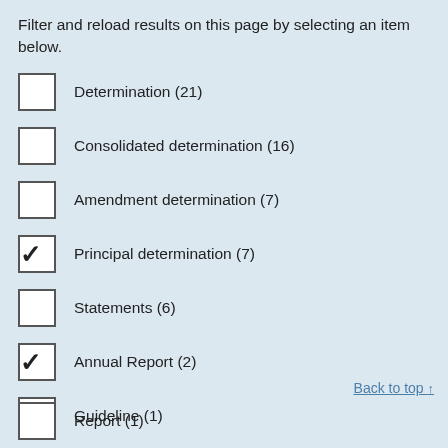Filter and reload results on this page by selecting an item below.
Determination (21)
Consolidated determination (16)
Amendment determination (7)
Principal determination (7) [checked]
Statements (6)
Annual Report (2) [checked]
Guideline (1)
Back to top ↑
Report (1)